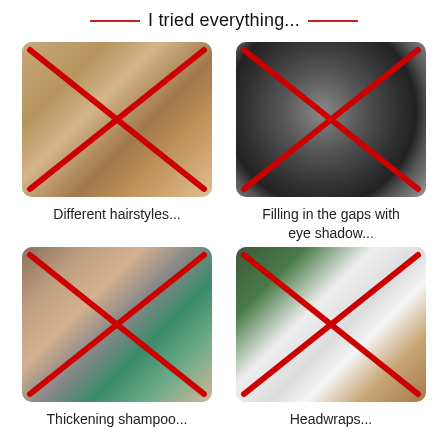I tried everything...
[Figure (photo): Photo of hair with a red X cross over it]
Different hairstyles...
[Figure (photo): Photo of eye shadow compact with brush and a red X cross over it]
Filling in the gaps with eye shadow...
[Figure (photo): Photo of hands using a device/shampoo applicator and a red X cross over it]
Thickening shampoo...
[Figure (photo): Photo of a person wearing a white headwrap with a red X cross over it]
Headwraps...